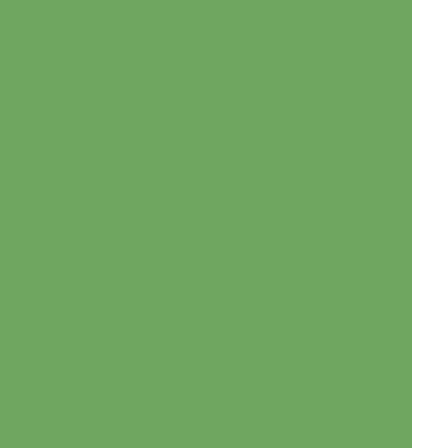[Figure (other): Green decorative panel on the left side of the page]
| Name | Location |
| --- | --- |
| Huh, Misuk | Seoul N |
| Hwang, Dae Song | Seoul N |
| Jho, Nam-Su | Seoul N |
| Ji, Yun-Seong | Seoul N |
| Kim, Byeong Moon | Seoul N |
| Kim, Jae Heon | Seoul N |
| Kim, Jeong-Ah | Seoul N |
| Kim, Ji Young | Seoul N |
| Kim, Kyung-kuk | Seoul N |
| Lee, Munsik | Seoul N |
| Lee, Youngmin | Seoul N |
| Lim, Sung-Geun | Seoul N |
| Oh, Byeong-Kweon | Seoul N |
| Oh, Young-Tak | Seoul N |
| Park, Cheol-Min | Seoul N |
| Park, Dayoon | Seoul N |
| Park, Poo-Sung | Seoul N |
| Seo, Bangnam | Seoul N |
| Seo, Min Jae | Seoul N |
| Seon, Dong-Gyu | Seoul N |
| Shin, Dong-Uy | Seoul N |